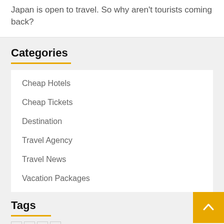Japan is open to travel. So why aren't tourists coming back?
Categories
Cheap Hotels
Cheap Tickets
Destination
Travel Agency
Travel News
Vacation Packages
Tags